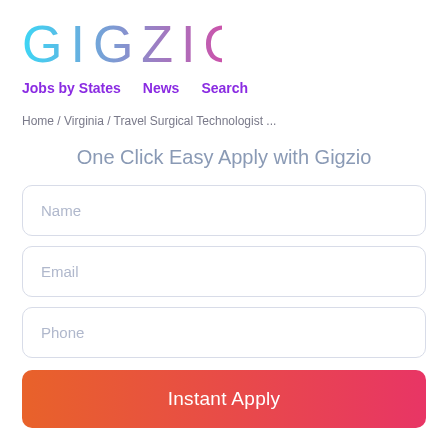[Figure (logo): Gigzio logo with gradient text from cyan to pink/magenta, large spaced letters]
Jobs by States    News    Search
Home / Virginia / Travel Surgical Technologist ...
One Click Easy Apply with Gigzio
Name
Email
Phone
Instant Apply